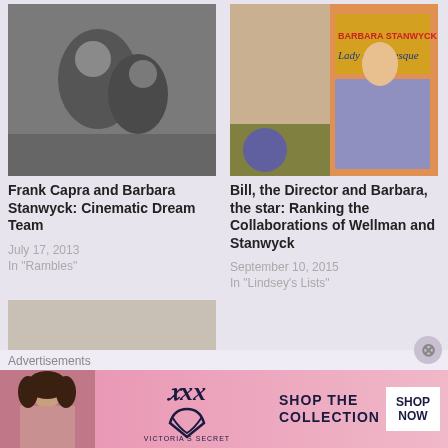[Figure (photo): Black and white photo of Frank Capra and Barbara Stanwyck]
Frank Capra and Barbara Stanwyck: Cinematic Dream Team
July 17, 2013
In "Rambles"
[Figure (photo): Colorful vintage movie poster for Barbara Stanwyck in Lady of Burlesque]
Bill, the Director and Barbara, the star: Ranking the Collaborations of Wellman and Stanwyck
September 10, 2015
In "Lindsey's Lists"
[Figure (photo): Black and white photo of desert landscape with camel and rider]
Book vs. Film: The
Advertisements
[Figure (photo): Victoria's Secret advertisement banner with model, VS logo, SHOP THE COLLECTION text, and SHOP NOW button]